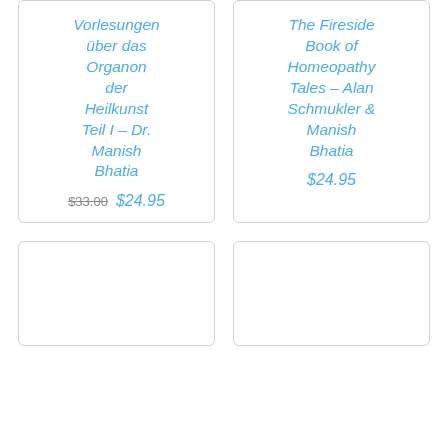Vorlesungen über das Organon der Heilkunst Teil I – Dr. Manish Bhatia
Original price: $33.00, Current price: $24.95
The Fireside Book of Homeopathy Tales – Alan Schmukler & Manish Bhatia
$24.95